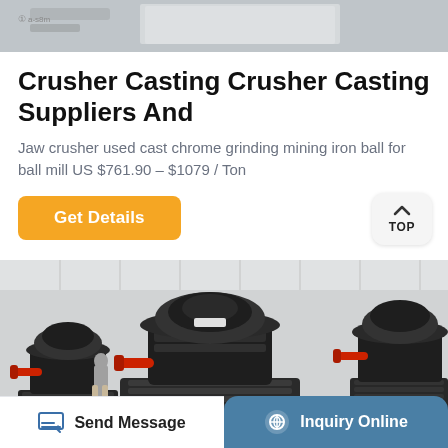[Figure (photo): Partial view of industrial equipment at top of page]
Crusher Casting Crusher Casting Suppliers And
Jaw crusher used cast chrome grinding mining iron ball for ball mill US $761.90 – $1079 / Ton
[Figure (other): Get Details button (orange/yellow) and TOP navigation button]
[Figure (photo): Photo of large black industrial cone crushers in a warehouse setting]
[Figure (other): Bottom navigation bar with Send Message and Inquiry Online buttons]